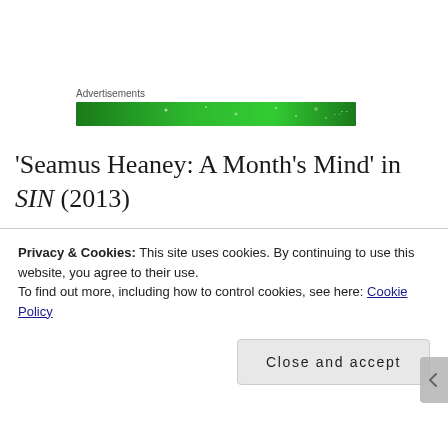[Figure (other): Green advertisement banner with sparkle/star effects]
'Seamus Heaney: A Month's Mind' in SIN (2013)
'Karen has Libya on her mind' in the Clare Champion (2011)
'Postcard from the West Bank' in the Irish Times (2008)
Privacy & Cookies: This site uses cookies. By continuing to use this website, you agree to their use.
To find out more, including how to control cookies, see here: Cookie Policy
Close and accept